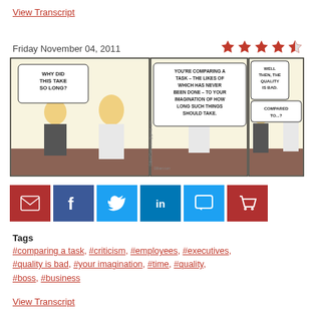View Transcript
Friday November 04, 2011
[Figure (illustration): Dilbert comic strip with three panels. Panel 1: Boss asks Dilbert 'WHY DID THIS TAKE SO LONG?'. Panel 2: Dilbert explains 'YOU'RE COMPARING A TASK – THE LIKES OF WHICH HAS NEVER BEEN DONE – TO YOUR IMAGINATION OF HOW LONG SUCH THINGS SHOULD TAKE.' Panel 3: Boss says 'WELL THEN, THE QUALITY IS BAD.' and figure responds 'COMPARED TO...?']
[Figure (infographic): Social sharing buttons: email (red), Facebook (dark blue), Twitter (light blue), LinkedIn (medium blue), comment (light blue), cart (dark red)]
Tags
#comparing a task, #criticism, #employees, #executives, #quality is bad, #your imagination, #time, #quality, #boss, #business
View Transcript